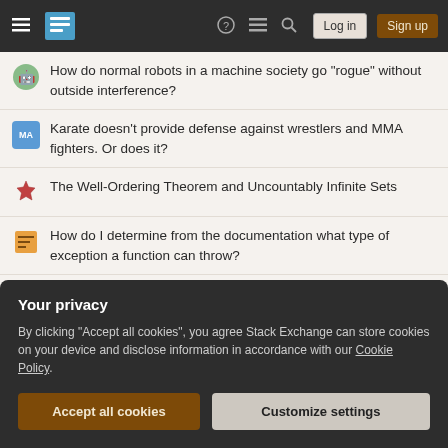Stack Exchange navigation bar with Log in and Sign up buttons
How do normal robots in a machine society go "rogue" without outside interference?
Karate doesn't provide defense against wrestlers and MMA fighters. Or does it?
The Well-Ordering Theorem and Uncountably Infinite Sets
How do I determine from the documentation what type of exception a function can throw?
Is John 6:4 authentic?
Under extreme/idyllic conditions, could Cult of the Dragon necrofy Tiamat?
What does "right up close" mean in this context?
Your privacy
By clicking "Accept all cookies", you agree Stack Exchange can store cookies on your device and disclose information in accordance with our Cookie Policy.